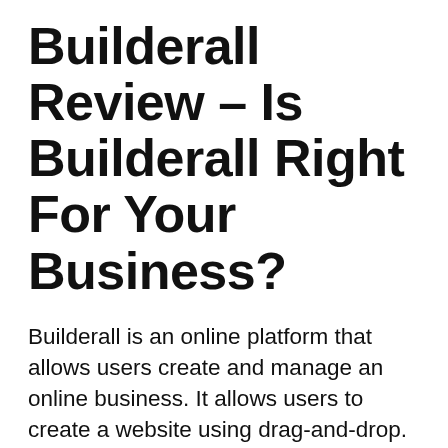Builderall Review – Is Builderall Right For Your Business?
Builderall is an online platform that allows users create and manage an online business. It allows users to create a website using drag-and-drop. There are more than 20 high-converting sales funnel templates. You can use this tool to create digital magazines and websites, and you can also integrate video apps into your websites. You can also get a free trial for 30 days to test the Builderall